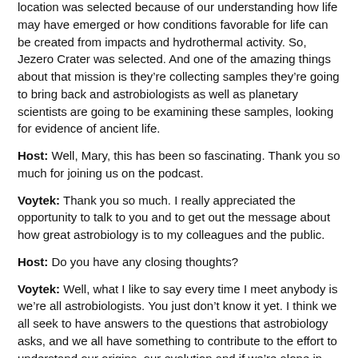location was selected because of our understanding how life may have emerged or how conditions favorable for life can be created from impacts and hydrothermal activity. So, Jezero Crater was selected. And one of the amazing things about that mission is they're collecting samples they're going to bring back and astrobiologists as well as planetary scientists are going to be examining these samples, looking for evidence of ancient life.
Host: Well, Mary, this has been so fascinating. Thank you so much for joining us on the podcast.
Voytek: Thank you so much. I really appreciated the opportunity to talk to you and to get out the message about how great astrobiology is to my colleagues and the public.
Host: Do you have any closing thoughts?
Voytek: Well, what I like to say every time I meet anybody is we're all astrobiologists. You just don't know it yet. I think we all seek to have answers to the questions that astrobiology asks, and we all have something to contribute to the effort to understand our origins, our evolution and if we're alone in the universe.